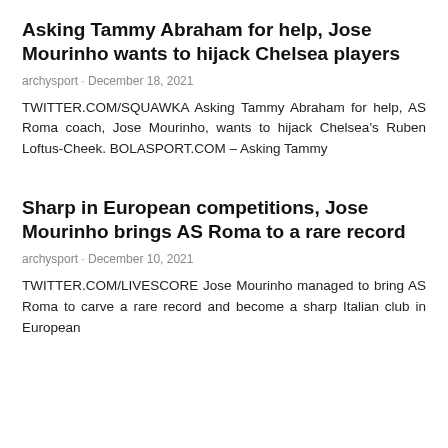Asking Tammy Abraham for help, Jose Mourinho wants to hijack Chelsea players
archysport · December 18, 2021
TWITTER.COM/SQUAWKA Asking Tammy Abraham for help, AS Roma coach, Jose Mourinho, wants to hijack Chelsea's Ruben Loftus-Cheek. BOLASPORT.COM – Asking Tammy
Sharp in European competitions, Jose Mourinho brings AS Roma to a rare record
archysport · December 10, 2021
TWITTER.COM/LIVESCORE Jose Mourinho managed to bring AS Roma to carve a rare record and become a sharp Italian club in European